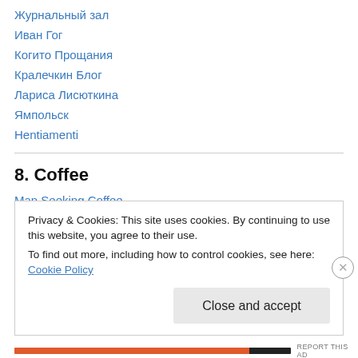Журнальный зал
Иван Гог
Когито Прощания
Кралечкин Блог
Лариса Лисюткина
Ямпольск
Hentiamenti
8. Coffee
Man Seeking Coffee
Pure Coffee Blog
Privacy & Cookies: This site uses cookies. By continuing to use this website, you agree to their use.
To find out more, including how to control cookies, see here: Cookie Policy
Close and accept